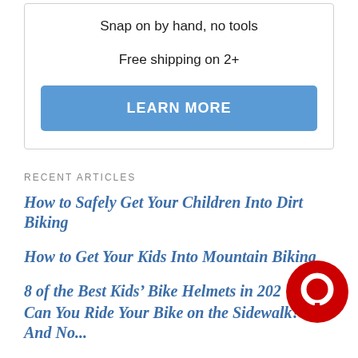Snap on by hand, no tools
Free shipping on 2+
LEARN MORE
RECENT ARTICLES
How to Safely Get Your Children Into Dirt Biking
How to Get Your Kids Into Mountain Biking
8 of the Best Kids' Bike Helmets in 202…
Can You Ride Your Bike on the Sidewalk? Yes! And No…
[Figure (illustration): Red circular chat bubble icon in bottom right corner]